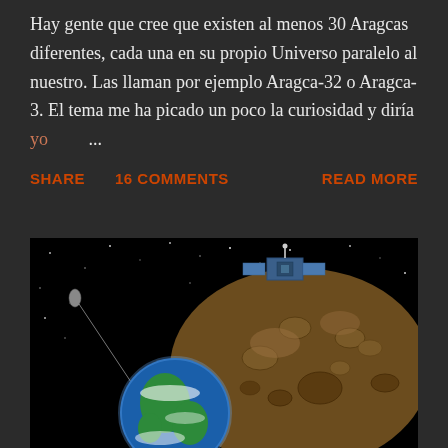Hay gente que cree que existen al menos 30 Aragcas diferentes, cada una en su propio Universo paralelo al nuestro. Las llaman por ejemplo Aragca-32 o Aragca-3. El tema me ha picado un poco la curiosidad y diría yo ...
SHARE
16 COMMENTS
READ MORE
[Figure (illustration): Space scene showing a large rocky asteroid with a satellite/spacecraft on it, Earth visible below, and a small spacecraft in the background, all set against a black star-filled space background.]